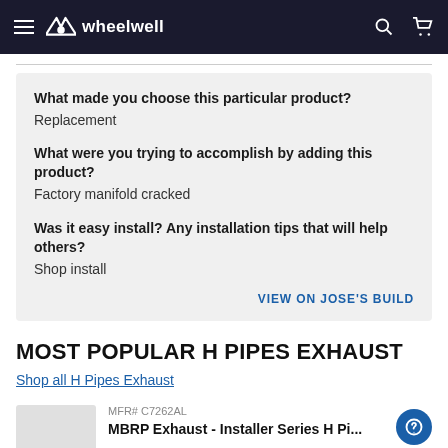wheelwell
What made you choose this particular product?
Replacement
What were you trying to accomplish by adding this product?
Factory manifold cracked
Was it easy install? Any installation tips that will help others?
Shop install
VIEW ON JOSE'S BUILD
MOST POPULAR H PIPES EXHAUST
Shop all H Pipes Exhaust
MFR# C7262AL
MBRP Exhaust - Installer Series H Pi...